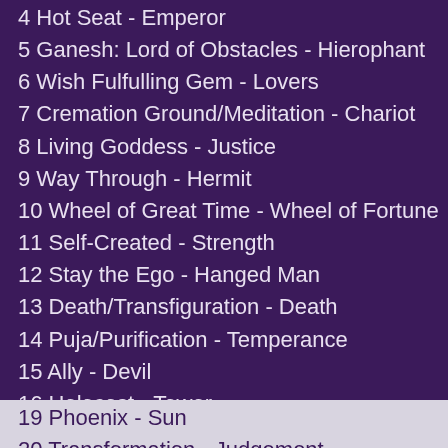4 Hot Seat - Emperor
5 Ganesh: Lord of Obstacles - Hierophant
6 Wish Fulfulling Gem - Lovers
7 Cremation Ground/Meditation - Chariot
8 Living Goddess - Justice
9 Way Through - Hermit
10 Wheel of Great Time - Wheel of Fortune
11 Self-Created - Strength
12 Stay the Ego - Hanged Man
13 Death/Transfiguration - Death
14 Puja/Purification - Temperance
15 Ally - Devil
16 Holocost - Tower
17 Island of Jewels - Star
18 Soma - Moon
19 Phoenix - Sun
20 Transformation - Judgement